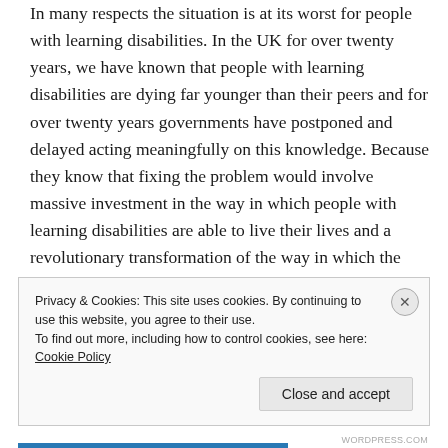In many respects the situation is at its worst for people with learning disabilities. In the UK for over twenty years, we have known that people with learning disabilities are dying far younger than their peers and for over twenty years governments have postponed and delayed acting meaningfully on this knowledge. Because they know that fixing the problem would involve massive investment in the way in which people with learning disabilities are able to live their lives and a revolutionary transformation of the way in which the healthcare system operates.
Privacy & Cookies: This site uses cookies. By continuing to use this website, you agree to their use. To find out more, including how to control cookies, see here: Cookie Policy